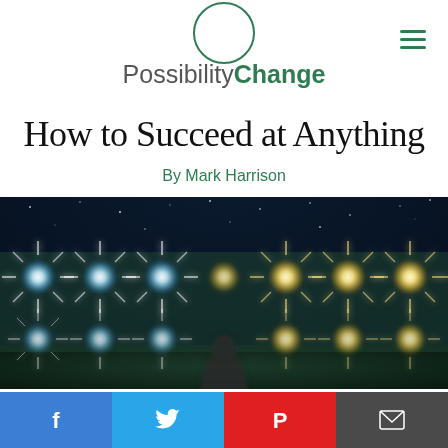PossibilityChange
How to Succeed at Anything
By Mark Harrison
[Figure (photo): A person standing in front of a wall of bright star-burst stage lights against a dark starry sky background.]
Facebook | Twitter | Pinterest | Email share buttons